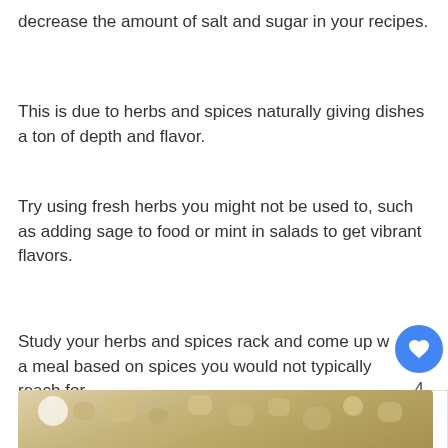decrease the amount of salt and sugar in your recipes.
This is due to herbs and spices naturally giving dishes a ton of depth and flavor.
Try using fresh herbs you might not be used to, such as adding sage to food or mint in salads to get vibrant flavors.
Study your herbs and spices rack and come up with a meal based on spices you would not typically reach for.
Unsalted Seeds and Nuts
[Figure (photo): Bowl of unsalted seeds and nuts, partially visible at bottom of page]
[Figure (other): WHAT'S NEXT panel with thumbnail showing Low Sodium Diabetic Diet article]